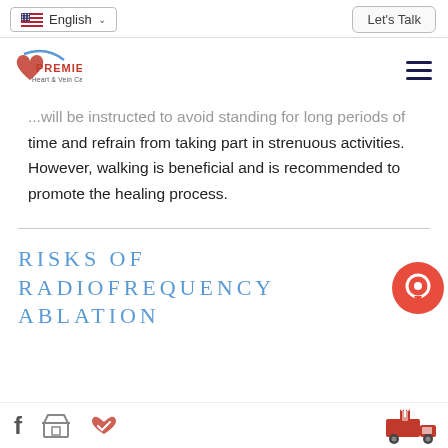English | Let's Talk
[Figure (logo): Premier Heart & Vein Care logo with red heart and blue arc]
...will be instructed to avoid standing for long periods of time and refrain from taking part in strenuous activities. However, walking is beneficial and is recommended to promote the healing process.
RISKS OF RADIOFREQUENCY ABLATION